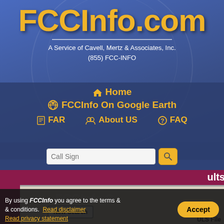FCCInfo.com
A Service of Cavell, Mertz & Associates, Inc.
(855) FCC-INFO
Home
FCCInfo On Google Earth
FAR
About US
FAQ
Call Sign [search input]
New Search
Search By
ULS File
By using FCCInfo you agree to the terms & conditions. Read disclaimer
Read privacy statement
Accept